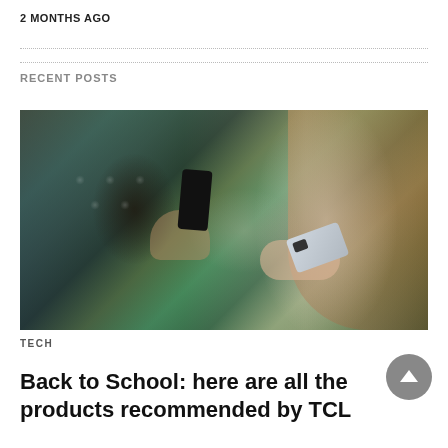2 MONTHS AGO
[Figure (photo): Two people holding smartphones outdoors; left person wearing green patterned clothing holding a dark phone, right person with long brown hair holding a silver phone with camera module visible.]
TECH
Back to School: here are all the products recommended by TCL